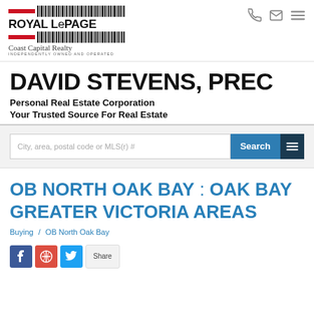[Figure (logo): Royal LePage Coast Capital Realty logo with red stripes and barcode pattern]
DAVID STEVENS, PREC
Personal Real Estate Corporation
Your Trusted Source For Real Estate
City, area, postal code or MLS(r) #
OB NORTH OAK BAY : OAK BAY GREATER VICTORIA AREAS
Buying / OB North Oak Bay